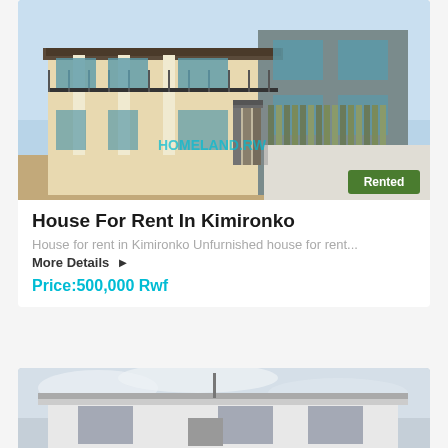[Figure (photo): Two-storey house with grey and cream exterior, balcony, columns, blue windows, wooden gate, and a 'HOMELAND.RW' watermark. A green 'Rented' badge is visible in the bottom right corner.]
House For Rent In Kimironko
House for rent in Kimironko Unfurnished house for rent...
More Details ▶
Price:500,000 Rwf
[Figure (photo): Single-storey modern house with white and grey exterior, flat roof, under a cloudy sky.]